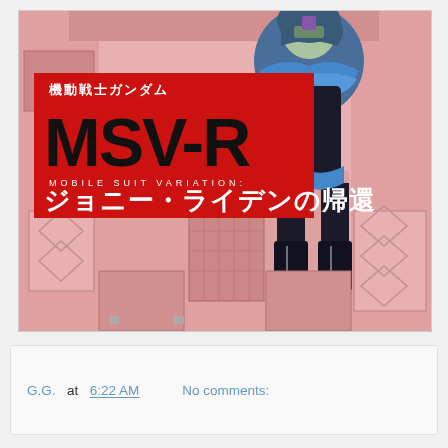[Figure (illustration): Manga/anime book cover art for 'MSV-R: Mobile Suit Variation - Johnny Ridden no Kikan' (機動戦士ガンダム MSV-R ジョニー・ライデンの帰還). Features Japanese text, large stylized 'MSV-R' logo in red/black, and an anime character (female with dark gothic-style clothing and boots) standing in front of a pink/salmon colored mechanical mecha suit background.]
G.G.  at  6:22 AM     No comments: